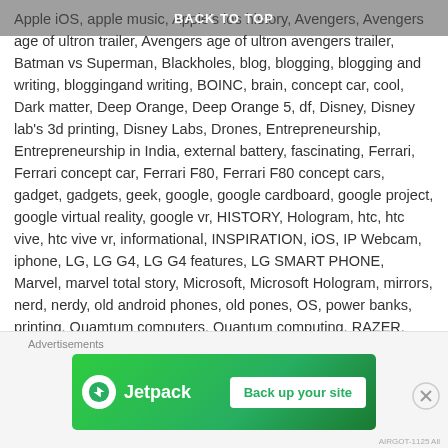BACK TO TOP
Apple iOS, apple music, Apple's ios history, Avengers, Avengers age of ultron trailer, Avengers age of ultron avengers trailer, Batman vs Superman, Blackholes, blog, blogging, blogging and writing, bloggingand writing, BOINC, brain, concept car, cool, Dark matter, Deep Orange, Deep Orange 5, df, Disney, Disney lab's 3d printing, Disney Labs, Drones, Entrepreneurship, Entrepreneurship in India, external battery, fascinating, Ferrari, Ferrari concept car, Ferrari F80, Ferrari F80 concept cars, gadget, gadgets, geek, google, google cardboard, google project, google virtual reality, google vr, HISTORY, Hologram, htc, htc vive, htc vive vr, informational, INSPIRATION, iOS, IP Webcam, iphone, LG, LG G4, LG G4 features, LG SMART PHONE, Marvel, marvel total story, Microsoft, Microsoft Hologram, mirrors, nerd, nerdy, old android phones, old pones, OS, power banks, printing, Quamtum computers, Quantum computing, RAZER, RAZER BLADE, RAZER BLADE HISTORY, RAZER INC., science, smart phone, Solar, Space, steve jobs, stuff, tech, technology, technology update, TYLT TLT, uses of lod android phones, uses of old phones, Virtual reality, website, what's dark matter, writing, writing and blogging, Xiomia 10400mAh
37 Comments
[Figure (infographic): Jetpack advertisement banner with green background showing Jetpack logo and 'Back up your site' button. Labeled 'Advertisements' above.]